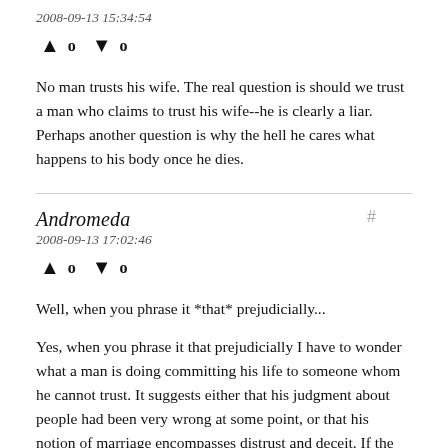2008-09-13 15:34:54
▲ 0 ▼ 0
No man trusts his wife. The real question is should we trust a man who claims to trust his wife--he is clearly a liar. Perhaps another question is why the hell he cares what happens to his body once he dies.
Andromeda
2008-09-13 17:02:46
▲ 0 ▼ 0
Well, when you phrase it *that* prejudicially...
Yes, when you phrase it that prejudicially I have to wonder what a man is doing committing his life to someone whom he cannot trust. It suggests either that his judgment about people had been very wrong at some point, or that his notion of marriage encompasses distrust and deceit. If the former, he may well have